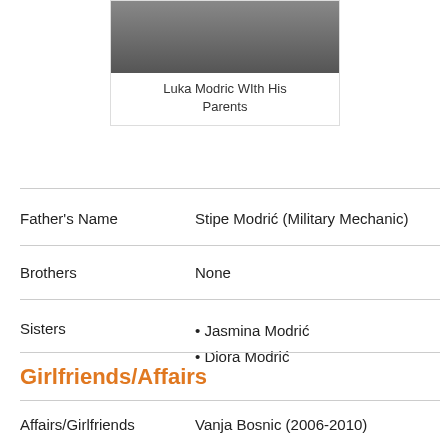[Figure (photo): Photo of Luka Modric with his parents (top portion partially visible)]
Luka Modric WIth His Parents
| Field | Value |
| --- | --- |
| Father's Name | Stipe Modrić (Military Mechanic) |
| Brothers | None |
| Sisters | • Jasmina Modrić
• Diora Modrić |
Girlfriends/Affairs
| Field | Value |
| --- | --- |
| Affairs/Girlfriends | Vanja Bosnic (2006-2010) |
Marital Status, Wife and Children
| Field | Value |
| --- | --- |
| Wife/Spouse | Vanja Bosnic (2010-Present) Manager of the Company "Luca SARL" |